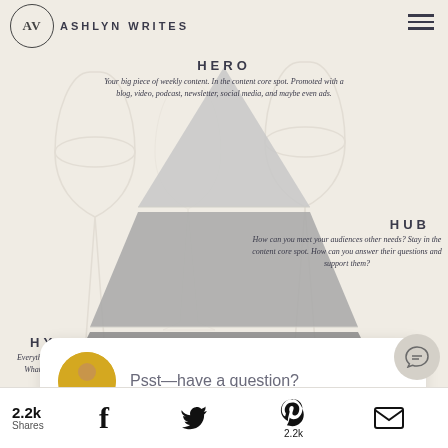AV ASHLYN WRITES
[Figure (infographic): Content pyramid diagram with three tiers: HERO (top), HUB (middle), HYGIENE (bottom), overlaid on wine glass watermark background]
HERO
Your big piece of weekly content. In the content core spot. Promoted with a blog, video, podcast, newsletter, social media, and maybe even ads.
HUB
How can you meet your audiences other needs? Stay in the content core spot. How can you answer their questions and support them?
HYGIENE
Everything else. How do you show up daily in your content? What editorial buckets do you just WANT to talk about?
close
[Figure (illustration): Chat bubble popup with avatar photo and text: Psst—have a question?]
Psst—have a question?
It was REALLY hard for me to narrow d
2.2k Shares  Facebook  Twitter  Pinterest 2.2k